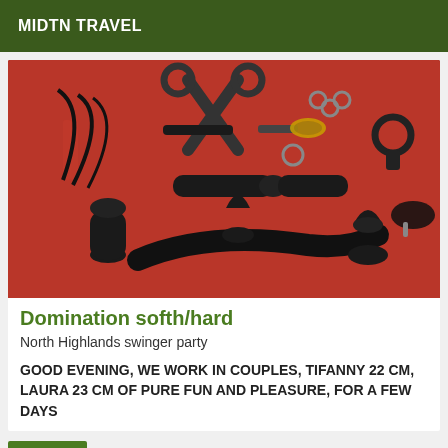MIDTN TRAVEL
[Figure (photo): Photo of various BDSM items including whips, restraints, paddles, and other adult toys laid out on a red surface]
Domination softh/hard
North Highlands swinger party
GOOD EVENING, WE WORK IN COUPLES, TIFANNY 22 CM, LAURA 23 CM OF PURE FUN AND PLEASURE, FOR A FEW DAYS
Verified